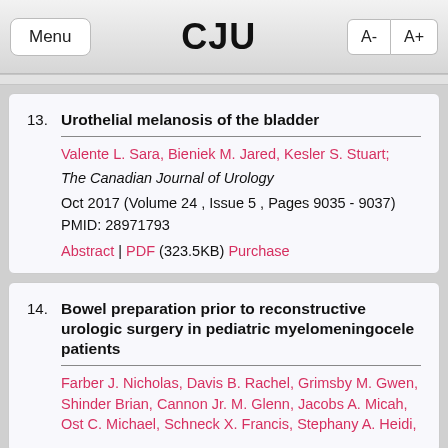Menu | CJU | A- A+
13. Urothelial melanosis of the bladder
Valente L. Sara, Bieniek M. Jared, Kesler S. Stuart;
The Canadian Journal of Urology
Oct 2017 (Volume 24 , Issue 5 , Pages 9035 - 9037)
PMID: 28971793
Abstract | PDF (323.5KB) Purchase
14. Bowel preparation prior to reconstructive urologic surgery in pediatric myelomeningocele patients
Farber J. Nicholas, Davis B. Rachel, Grimsby M. Gwen, Shinder Brian, Cannon Jr. M. Glenn, Jacobs A. Micah, Ost C. Michael, Schneck X. Francis, Stephany A. Heidi,